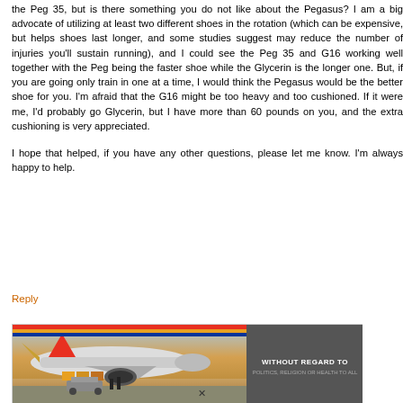the Peg 35, but is there something you do not like about the Pegasus? I am a big advocate of utilizing at least two different shoes in the rotation (which can be expensive, but helps shoes last longer, and some studies suggest may reduce the number of injuries you'll sustain running), and I could see the Peg 35 and G16 working well together with the Peg being the faster shoe while the Glycerin is the longer one. But, if you are going only train in one at a time, I would think the Pegasus would be the better shoe for you. I'm afraid that the G16 might be too heavy and too cushioned. If it were me, I'd probably go Glycerin, but I have more than 60 pounds on you, and the extra cushioning is very appreciated.

I hope that helped, if you have any other questions, please let me know. I'm always happy to help.
Reply
[Figure (photo): Advertisement banner showing an airplane being loaded with cargo, with text 'WITHOUT REGARD TO POLITICS, RELIGION OR HEALTH TO ALL']